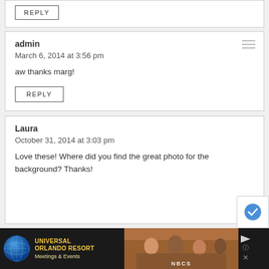REPLY
admin
March 6, 2014 at 3:56 pm
aw thanks marg!
REPLY
Laura
October 31, 2014 at 3:03 pm
Love these! Where did you find the great photo for the background? Thanks!
[Figure (photo): Advertisement banner at bottom: Universal Orlando Resort Meetings & Events ad with a group photo of people dining]